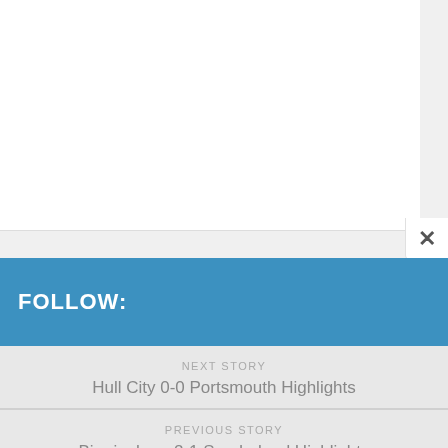FOLLOW:
NEXT STORY
Hull City 0-0 Portsmouth Highlights
PREVIOUS STORY
Birmingham 2-1 Sunderland Highlights
Search ...